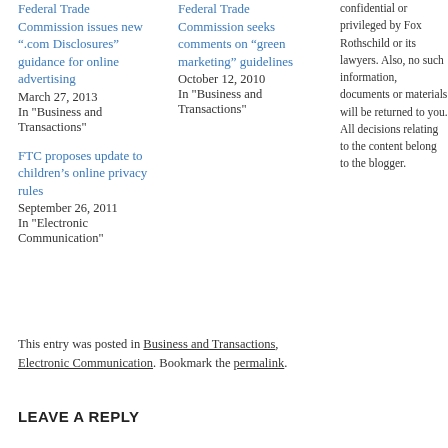Federal Trade Commission issues new “.com Disclosures” guidance for online advertising
March 27, 2013
In "Business and Transactions"
Federal Trade Commission seeks comments on “green marketing” guidelines
October 12, 2010
In "Business and Transactions"
confidential or privileged by Fox Rothschild or its lawyers. Also, no such information, documents or materials will be returned to you. All decisions relating to the content belong to the blogger.
FTC proposes update to children’s online privacy rules
September 26, 2011
In "Electronic Communication"
This entry was posted in Business and Transactions, Electronic Communication. Bookmark the permalink.
LEAVE A REPLY